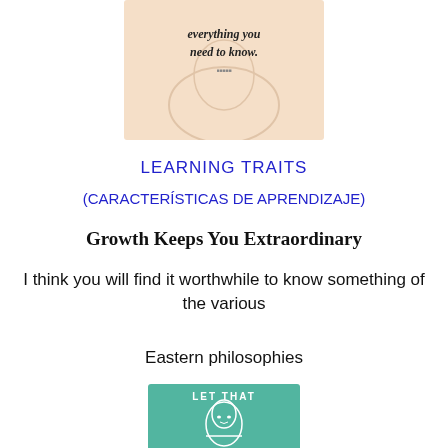[Figure (illustration): Illustration of a meditating Buddha figure on a peach/cream background with text 'everything you need to know.' in cursive handwriting style]
LEARNING TRAITS
(CARACTERÍSTICAS DE APRENDIZAJE)
Growth Keeps You Extraordinary
I think you will find it worthwhile to know something of the various
Eastern philosophies
[Figure (illustration): Illustration of a Buddha figure on a teal/green background with text 'LET THAT' at the top]